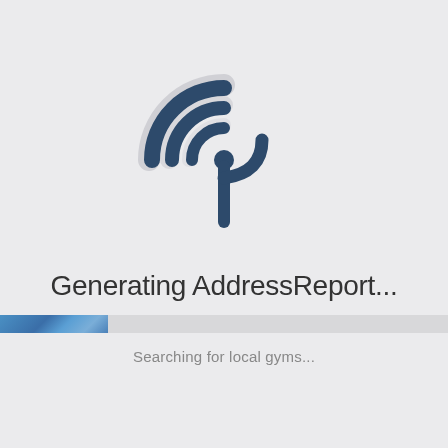[Figure (logo): A circular radar/signal icon with concentric arcs and a downward-pointing pin/marker, rendered in dark slate blue (#2d4a6b) with lighter gray concentric background arcs]
Generating AddressReport...
[Figure (other): A horizontal progress bar, partially filled (approx 24%) with a blue gradient fill on a light gray background track]
Searching for local gyms...